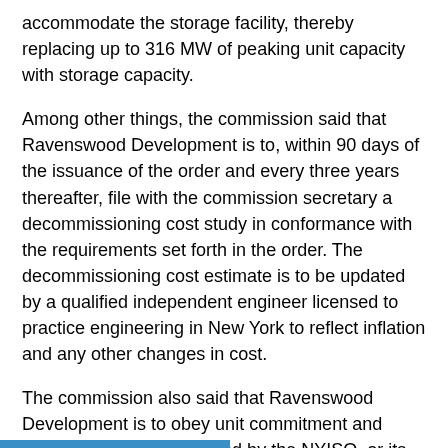accommodate the storage facility, thereby replacing up to 316 MW of peaking unit capacity with storage capacity.
Among other things, the commission said that Ravenswood Development is to, within 90 days of the issuance of the order and every three years thereafter, file with the commission secretary a decommissioning cost study in conformance with the requirements set forth in the order. The decommissioning cost estimate is to be updated by a qualified independent engineer licensed to practice engineering in New York to reflect inflation and any other changes in cost.
The commission also said that Ravenswood Development is to obey unit commitment and dispatch instructions issued by the NYISO, or its successor, in order to maintain the reliability of the transmission system.